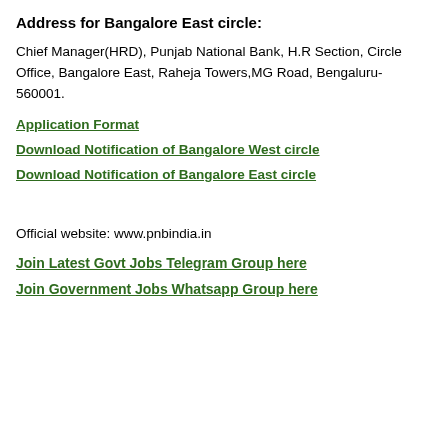Address for Bangalore East circle:
Chief Manager(HRD), Punjab National Bank, H.R Section, Circle Office, Bangalore East, Raheja Towers,MG Road, Bengaluru- 560001.
Application Format
Download Notification of Bangalore West circle
Download Notification of Bangalore East circle
Official website: www.pnbindia.in
Join Latest Govt Jobs Telegram Group here
Join Government Jobs Whatsapp Group here